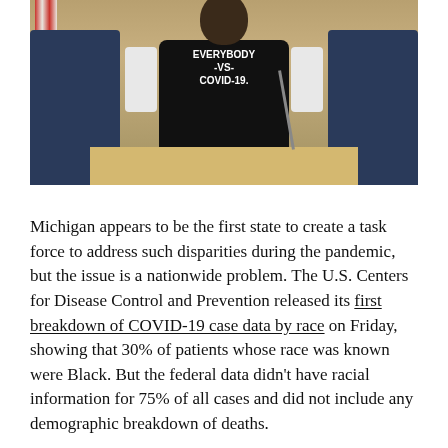[Figure (photo): A person wearing a black shirt reading 'EVERYBODY -VS- COVID-19.' seated at a podium/desk in what appears to be a legislative chamber, flanked by large chairs. Microphone visible on the right side. American flag visible on the left.]
Michigan appears to be the first state to create a task force to address such disparities during the pandemic, but the issue is a nationwide problem. The U.S. Centers for Disease Control and Prevention released its first breakdown of COVID-19 case data by race on Friday, showing that 30% of patients whose race was known were Black. But the federal data didn't have racial information for 75% of all cases and did not include any demographic breakdown of deaths.
Despite the lack of federal data, city and state data clearly show that confirmed COVID-19 infections and deaths are heavily concentrated in the Black population. Black residents in Chicago make up more than half of all COVID-19 cases and a staggering